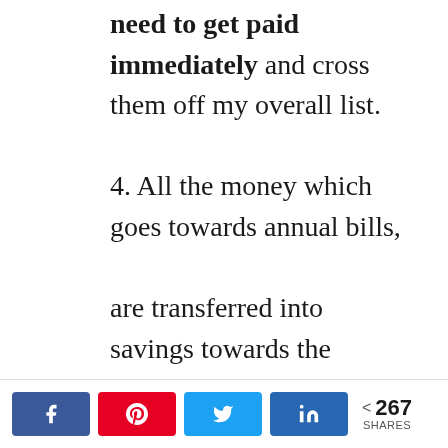need to get paid immediately and cross them off my overall list. 4. All the money which goes towards annual bills, are transferred into savings towards the
[Figure (infographic): Social share bar with Facebook (blue), Pinterest (red), Twitter (light blue), LinkedIn (dark blue) buttons, and a share count showing < 267 SHARES]